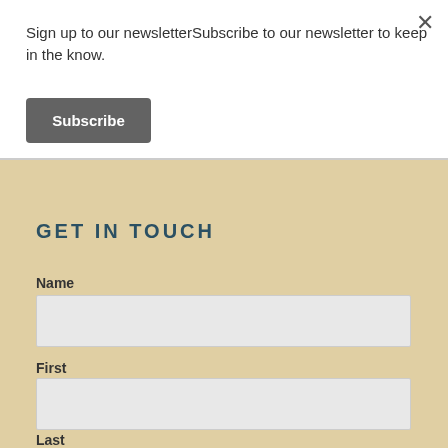Sign up to our newsletterSubscribe to our newsletter to keep in the know.
Subscribe
GET IN TOUCH
Name
First
Last